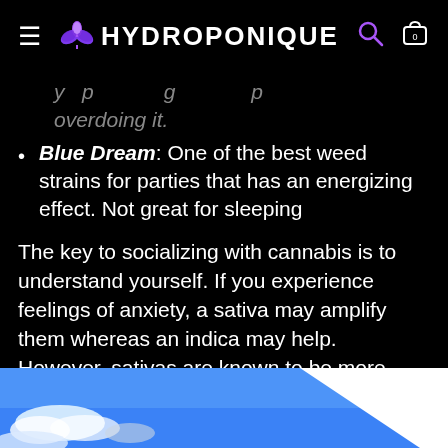≡ 🌿 HYDROPONIQUE 🔍 🛒
…y p g p overdoing it.
Blue Dream: One of the best weed strains for parties that has an energizing effect. Not great for sleeping
The key to socializing with cannabis is to understand yourself. If you experience feelings of anxiety, a sativa may amplify them whereas an indica may help. However, sativas are known to be more energizing, which could put you in more of a partying mood. Above all, know thyself.
[Figure (photo): Bottom portion showing a blue sky with clouds and a white diagonal shape on the right side]